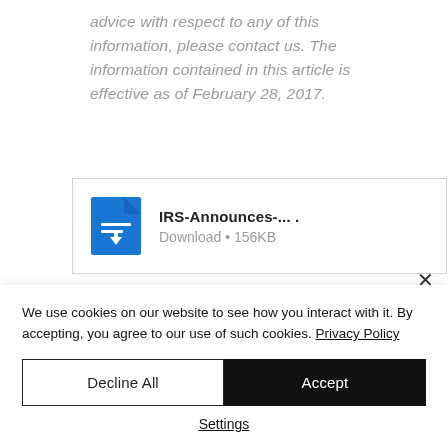advice with respect to any of this information, please contact us. The information contained in this article is effective as of February 28, 2017.
[Figure (other): Download link box showing a blue document icon with a file named 'IRS-Announces-... .' and 'Download • 156KB' below it]
We use cookies on our website to see how you interact with it. By accepting, you agree to our use of such cookies. Privacy Policy